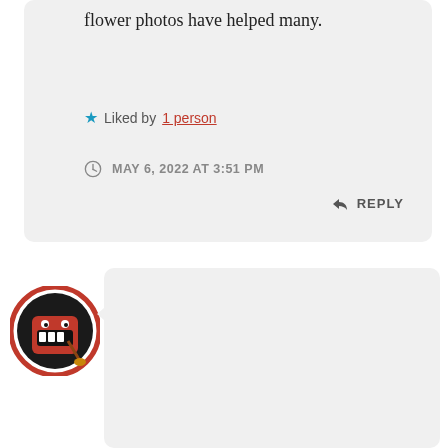flower photos have helped many.
Liked by 1 person
MAY 6, 2022 AT 3:51 PM
REPLY
[Figure (photo): Avatar of Mike U. — a cartoon red Domo character holding a guitar, inside a red circle border.]
Mike U.
Thanks so much for your kind words. It's so hard to believe the Columbine shooting took place twenty-three years ago. I can't look